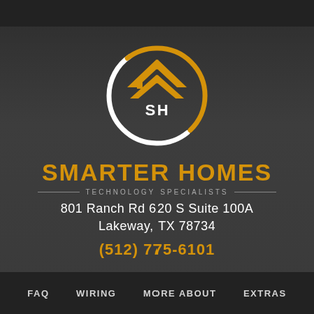[Figure (logo): Smarter Homes circular logo with gold chevron/roof shape and SH initials in white, white circle arc at top]
SMARTER HOMES
TECHNOLOGY SPECIALISTS
801 Ranch Rd 620 S Suite 100A
Lakeway, TX 78734
(512) 775-6101
FAQ
WIRING
MORE ABOUT
EXTRAS